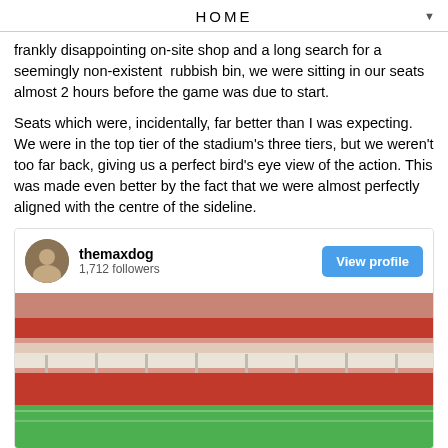HOME
frankly disappointing on-site shop and a long search for a seemingly non-existent  rubbish bin, we were sitting in our seats almost 2 hours before the game was due to start.
Seats which were, incidentally, far better than I was expecting. We were in the top tier of the stadium's three tiers, but we weren't too far back, giving us a perfect bird's eye view of the action. This was made even better by the fact that we were almost perfectly aligned with the centre of the sideline.
[Figure (screenshot): Instagram embed showing user 'themaxdog' with 1,712 followers and a View profile button, with a photo of a stadium (red seats, green field, foggy atmosphere) below.]